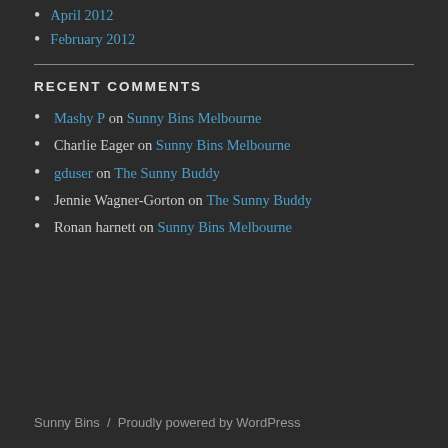April 2012
February 2012
RECENT COMMENTS
Mashy P on Sunny Bins Melbourne
Charlie Eager on Sunny Bins Melbourne
gduser on The Sunny Buddy
Jennie Wagner-Gorton on The Sunny Buddy
Ronan harnett on Sunny Bins Melbourne
Sunny Bins / Proudly powered by WordPress